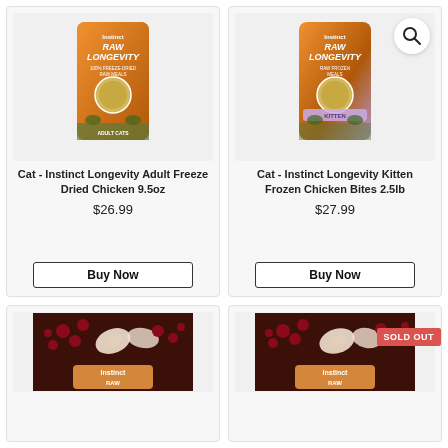[Figure (photo): Instinct Raw Longevity Adult Cats freeze dried raw meals bag, orange packaging]
Cat - Instinct Longevity Adult Freeze Dried Chicken 9.5oz
$26.99
Buy Now
[Figure (photo): Instinct Raw Longevity Kitten frozen chicken bites bag, orange and purple packaging, with search magnifying glass icon overlay]
Cat - Instinct Longevity Kitten Frozen Chicken Bites 2.5lb
$27.99
Buy Now
[Figure (photo): Instinct Raw product with dark background showing cranberries and apple slices]
[Figure (photo): Instinct Raw product with dark background showing cranberries and apple slices, SOLD OUT badge]
SOLD OUT